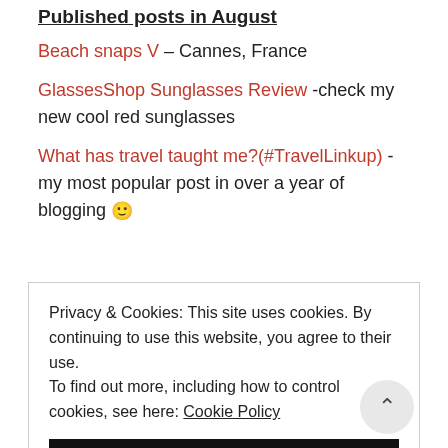Published posts in August
Beach snaps V – Cannes, France
GlassesShop Sunglasses Review -check my new cool red sunglasses
What has travel taught me?(#TravelLinkup) -my most popular post in over a year of blogging 🙂
Privacy & Cookies: This site uses cookies. By continuing to use this website, you agree to their use. To find out more, including how to control cookies, see here: Cookie Policy
CLOSE AND ACCEPT
Beach snaps VIII -the last post in this summer series or